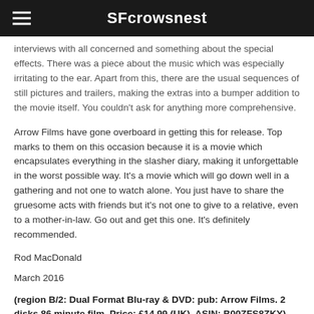SFcrowsnest
interviews with all concerned and something about the special effects. There was a piece about the music which was especially irritating to the ear. Apart from this, there are the usual sequences of still pictures and trailers, making the extras into a bumper addition to the movie itself. You couldn't ask for anything more comprehensive.
Arrow Films have gone overboard in getting this for release. Top marks to them on this occasion because it is a movie which encapsulates everything in the slasher diary, making it unforgettable in the worst possible way. It's a movie which will go down well in a gathering and not one to watch alone. You just have to share the gruesome acts with friends but it's not one to give to a relative, even to a mother-in-law. Go out and get this one. It's definitely recommended.
Rod MacDonald
March 2016
(region B/2: Dual Format Blu-ray & DVD: pub: Arrow Films. 2 disks 86 minute film. Price: £14.99 (UK). ASIN: B00ZFS8ZKY)
cast: Matt Mitler, Ruth Martinez and Bill Hitchcock